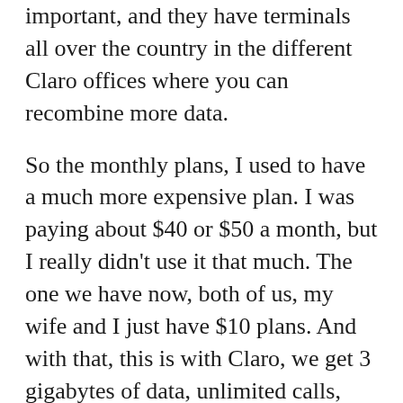important, and they have terminals all over the country in the different Claro offices where you can recombine more data.
So the monthly plans, I used to have a much more expensive plan. I was paying about $40 or $50 a month, but I really didn't use it that much. The one we have now, both of us, my wife and I just have $10 plans. And with that, this is with Claro, we get 3 gigabytes of data, unlimited calls, and 500 text messages. And that, I think, will be more than enough for what we use it for. We really don't use the phone that much. We do use text messaging but don't use the phone that much.